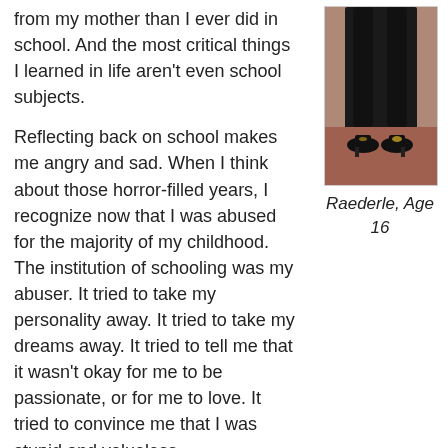from my mother than I ever did in school. And the most critical things I learned in life aren't even school subjects.
Reflecting back on school makes me angry and sad. When I think about those horror-filled years, I recognize now that I was abused for the majority of my childhood. The institution of schooling was my abuser. It tried to take my personality away. It tried to take my dreams away. It tried to tell me that it wasn't okay for me to be passionate, or for me to love. It tried to convince me that I was stupid and valueless.
[Figure (photo): Photo of Raederle at age 16, showing legs and high-heeled shoes against a reddish-brown background]
Raederle, Age 16
And how could it do anything else?
Give absolute authority to someone who does not love the person or things they have authority over, and watch what happens. School teachers do not love their students. Often they resent them. Most school teachers I had barely masked their dislike of me, at best. In High School there were some